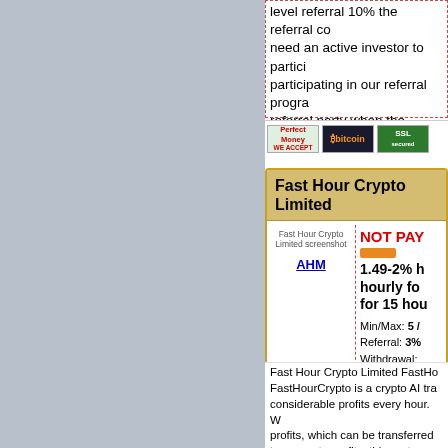level referral 10% the referral commission need an active investor to participate in participating in our referral program referral party when the referring p
[Figure (screenshot): Payment method icons: Perfect Money (WE ACCEPT), Bitcoin, SSL secured, and one more icon]
Fast Hour Crypto Limited
[Figure (screenshot): Fast Hour Crypto Limited screenshot with NOT PAYING status, orange bar, AHM link, 1.49-2% hourly for 15 hours plan info, Min/Max: 5/, Referral: 3%, Withdrawal:]
Fast Hour Crypto Limited FastHo FastHourCrypto is a crypto AI tra considerable profits every hour. W profits, which can be transferred to generate profits, this system a professional trading system can into 6 different plans to provide to withdraw money one hour after y time! "Today I was surprised to fi